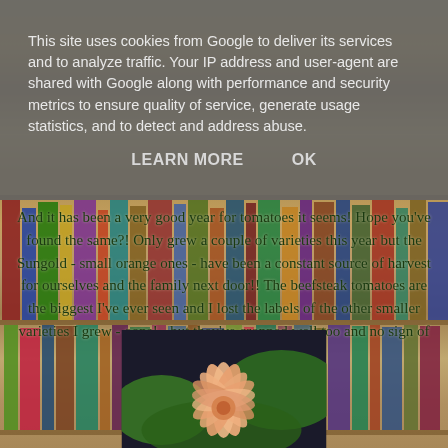This site uses cookies from Google to deliver its services and to analyze traffic. Your IP address and user-agent are shared with Google along with performance and security metrics to ensure quality of service, generate usage statistics, and to detect and address abuse.
LEARN MORE    OK
And it has been a very good year for tomatoes it seems! Hope you've found the same?!  Only grew a couple of varieties this year but the Sungold - small orange ones - have been a constant source of harvest for ourselves and the family next door!! The beefsteak tomatoes are the biggest I've ever seen and I lost the labels of the other smaller varieties I grew - oops! - but they've cropped well too and no sign of blight..... yay!!
[Figure (photo): Close-up photo of a peach/salmon colored flower (dahlia) with green leaves in the background]